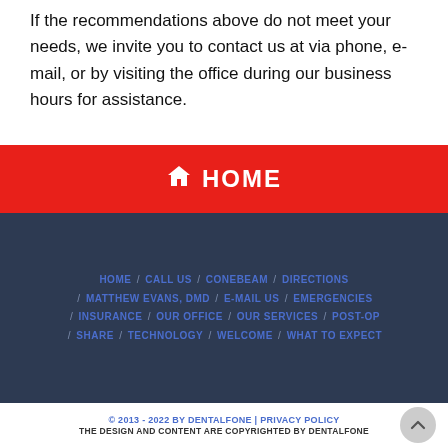If the recommendations above do not meet your needs, we invite you to contact us at via phone, e-mail, or by visiting the office during our business hours for assistance.
HOME
HOME / CALL US / CONEBEAM / DIRECTIONS / MATTHEW EVANS, DMD / E-MAIL US / EMERGENCIES / INSURANCE / OUR OFFICE / OUR SERVICES / POST-OP / SHARE / TECHNOLOGY / WELCOME / WHAT TO EXPECT
© 2013 - 2022 BY DENTALFONE | PRIVACY POLICY
THE DESIGN AND CONTENT ARE COPYRIGHTED BY DENTALFONE